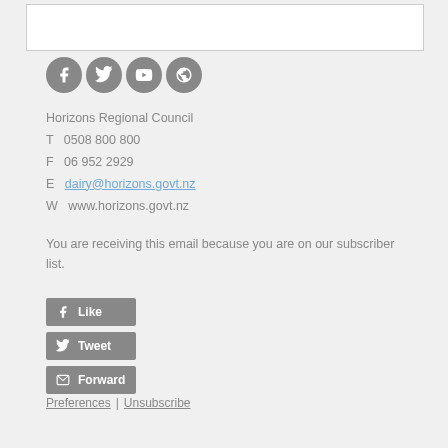[Figure (other): Top bordered white box (partial content area)]
[Figure (other): Social media icons row: Facebook, Twitter, YouTube, and a globe/share icon, all in gray circles]
Horizons Regional Council
T  0508 800 800
F  06 952 2929
E  dairy@horizons.govt.nz
W  www.horizons.govt.nz
You are receiving this email because you are on our subscriber list.
[Figure (other): Three social action buttons: Like (Facebook), Tweet (Twitter), Forward (email icon)]
Preferences  |  Unsubscribe